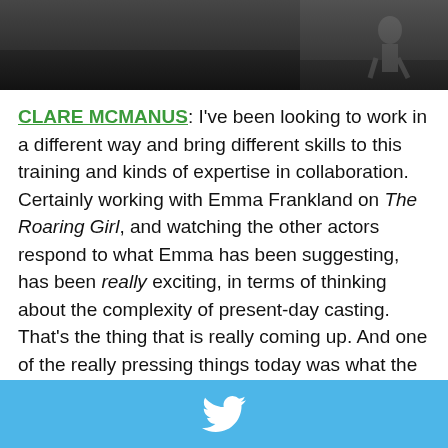[Figure (photo): A dark-toned photograph showing a figure or performer in a studio/stage space with a dark floor]
CLARE MCMANUS: I've been looking to work in a different way and bring different skills to this training and kinds of expertise in collaboration. Certainly working with Emma Frankland on The Roaring Girl, and watching the other actors respond to what Emma has been suggesting, has been really exciting, in terms of thinking about the complexity of present-day casting. That's the thing that is really coming up. And one of the really pressing things today was what the use of history is and the use of pastness and our relationship to it. And that seems to be something that's really pointedly at issue with PaR. And I think in ways that can be dodged a little bit in other disciplines, but you can't dodge it when you're dealing with embodied performance and embodied voices—
[Figure (logo): Twitter bird logo on a light blue bar at the bottom of the page]